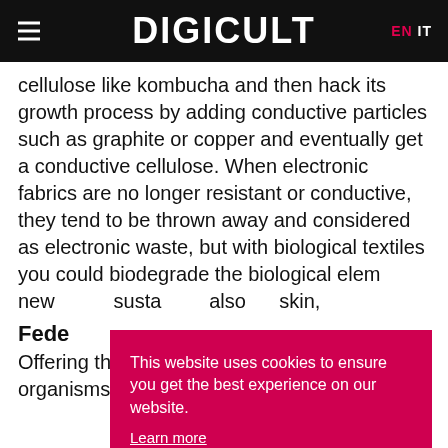DIGICULT  EN  IT
cellulose like kombucha and then hack its growth process by adding conductive particles such as graphite or copper and eventually get a conductive cellulose. When electronic fabrics are no longer resistant or conductive, they tend to be thrown away and considered as electronic waste, but with biological textiles you could biodegrade the biological elements and recycle the electronic parts for new uses, sustaining circular economy. Biological textiles could also be used as a second skin, ...
This website uses cookies to ensure you get the best experience on our website. Learn more  Got it
Fede...
Offering the possibility of growing living organisms of...